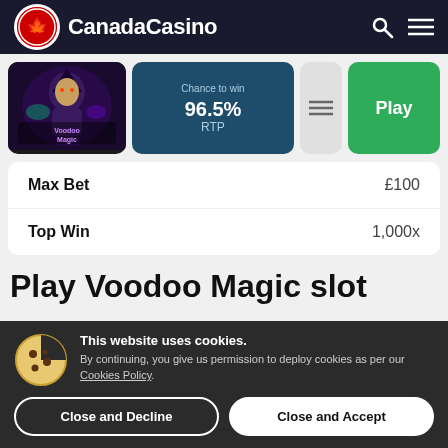CanadaCasino
[Figure (screenshot): Voodoo Magic slot game thumbnail with mystical character]
Chance to win   96.5% RTP
| Field | Value |
| --- | --- |
| Max Bet | £100 |
| Top Win | 1,000x |
Play Voodoo Magic slot
This website uses cookies. By continuing, you give us permission to deploy cookies as per our Cookies Policy.
Close and Decline   Close and Accept